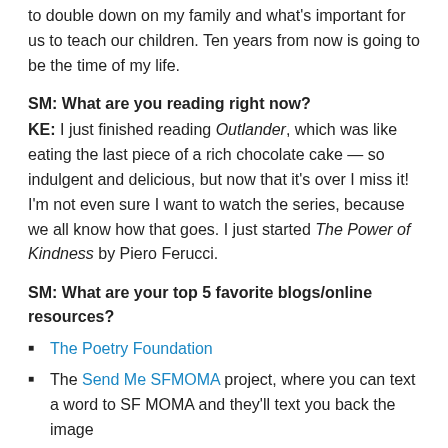to double down on my family and what's important for us to teach our children. Ten years from now is going to be the time of my life.
SM: What are you reading right now?
KE: I just finished reading Outlander, which was like eating the last piece of a rich chocolate cake — so indulgent and delicious, but now that it's over I miss it! I'm not even sure I want to watch the series, because we all know how that goes. I just started The Power of Kindness by Piero Ferucci.
SM: What are your top 5 favorite blogs/online resources?
The Poetry Foundation
The Send Me SFMOMA project, where you can text a word to SF MOMA and they'll text you back the image